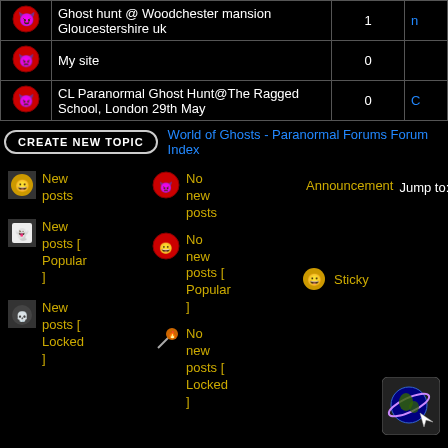|  | Topic | Replies | Last post |
| --- | --- | --- | --- |
| [icon] | Ghost hunt @ Woodchester mansion Gloucestershire uk | 1 | n… |
| [icon] | My site | 0 |  |
| [icon] | CL Paranormal Ghost Hunt@The Ragged School, London 29th May | 0 | C… |
CREATE NEW TOPIC   World of Ghosts - Paranormal Forums Forum Index
New posts | No new posts | Announcement | Jump to: [Select...]
New posts [Popular] | No new posts [Popular] | Sticky
New posts [Locked] | No new posts [Locked]
[Figure (logo): Planet/globe logo icon at bottom right]